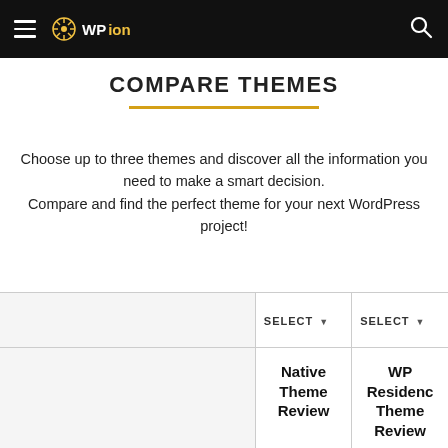WPion
COMPARE THEMES
Choose up to three themes and discover all the information you need to make a smart decision. Compare and find the perfect theme for your next WordPress project!
|  | SELECT | SELECT |
| --- | --- | --- |
|  | Native Theme Review | WP Residence Theme Review |